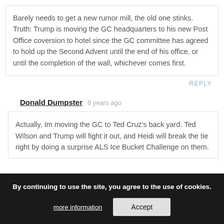Barely needs to get a new rumor mill, the old one stinks. Truth: Trump is moving the GC headquarters to his new Post Office coversion to hotel since the GC committee has agreed to hold up the Second Advent until the end of his office, or until the completion of the wall, whichever comes first.
REPLY
Donald Dumpster  6 years ago
Actually, Im moving the GC to Ted Cruz's back yard. Ted Wilson and Trump will fight it out, and Heidi will break the tie right by doing a surprise ALS Ice Bucket Challenge on them.
By continuing to use the site, you agree to the use of cookies.
more information
Accept